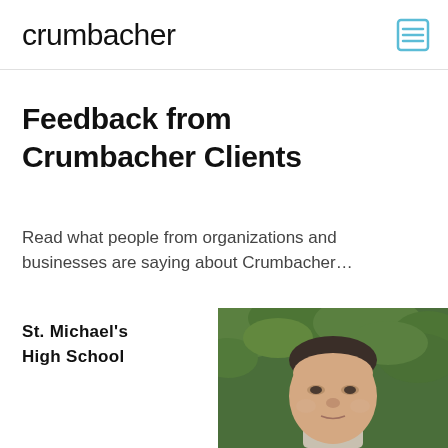crumbacher
Feedback from Crumbacher Clients
Read what people from organizations and businesses are saying about Crumbacher…
St. Michael's High School
[Figure (photo): Headshot of a middle-aged man with short dark hair against a green leafy background]